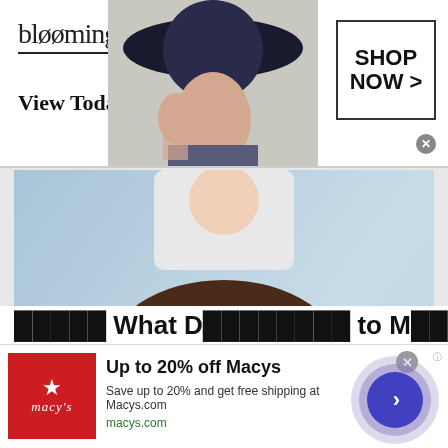[Figure (photo): Bloomingdales advertisement banner with logo, tagline 'View Today's Top Deals!', model wearing hat, and SHOP NOW button]
[Figure (photo): Dental patient smiling with blue-gloved hands examining teeth]
[Figure (photo): Macy's advertisement with logo, 'Up to 20% off Macys' offer, description and arrow button]